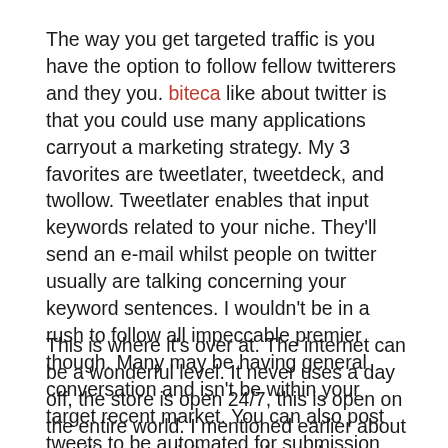The way you get targeted traffic is you have the option to follow fellow twitterers and they you. biteca like about twitter is that you could use many applications carryout a marketing strategy. My 3 favorites are tweetlater, tweetdeck, and twollow. Tweetlater enables that input keywords related to your niche. They'll send an e-mail whilst people on twitter usually are talking concerning your keyword sentences. I wouldn't be in a rush to follow all impeccable premier though. Many may be having general conversation and isn't be within your target recent market. You can also post tweets to be automated for submission another time or date.
This is where it's over at. The internet can be a wonderful level. It never uses a day off, the store is open 24/7, this is open on the entire world. I mentioned earlier about emailing your visitors as if you do were pals / buddies. This leads me to internet sites